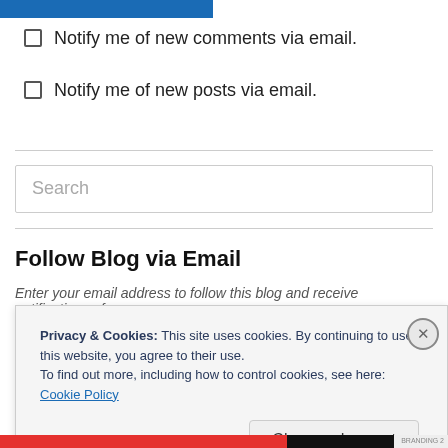[Figure (other): Blue horizontal bar at top of page]
Notify me of new comments via email.
Notify me of new posts via email.
Search
Follow Blog via Email
Enter your email address to follow this blog and receive notifications of
Privacy & Cookies: This site uses cookies. By continuing to use this website, you agree to their use. To find out more, including how to control cookies, see here: Cookie Policy
Close and accept